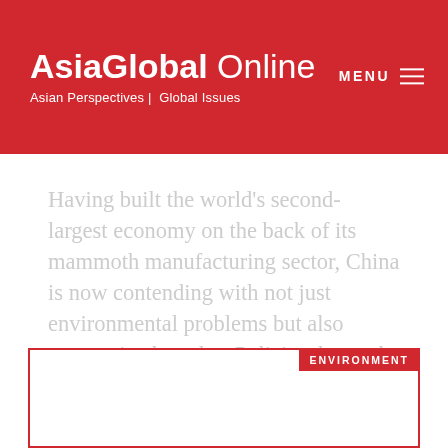AsiaGlobal Online — Asian Perspectives | Global Issues
Having built the world's second-largest economy on the back of its mammoth manufacturing sector, China is now contending with not just environmental problems but also economic obstacles. Policies that make businesses greener can raise costs, and negative impacts on labor must be mitigated
ENVIRONMENT